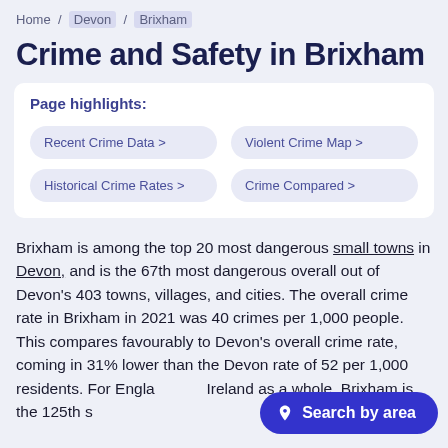Home / Devon / Brixham
Crime and Safety in Brixham
Page highlights:
Recent Crime Data >
Violent Crime Map >
Historical Crime Rates >
Crime Compared >
Brixham is among the top 20 most dangerous small towns in Devon, and is the 67th most dangerous overall out of Devon's 403 towns, villages, and cities. The overall crime rate in Brixham in 2021 was 40 crimes per 1,000 people. This compares favourably to Devon's overall crime rate, coming in 31% lower than the Devon rate of 52 per 1,000 residents. For England and Ireland as a whole, Brixham is the 125th s... 4,949th...